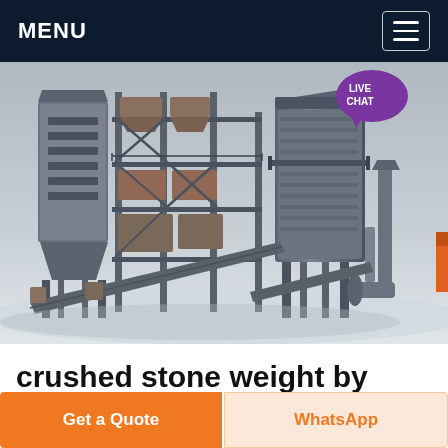MENU
[Figure (photo): 3D rendered image of a large industrial stone crushing / asphalt plant facility with multi-level steel framework, silos, conveyors, and dust collection equipment on a grey background. A purple 'LIVE CHAT' speech bubble appears in the upper right.]
crushed stone weight by cubic yard
Get a Quote
WhatsApp